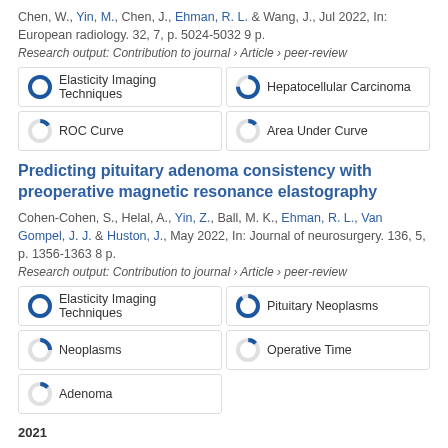Chen, W., Yin, M., Chen, J., Ehman, R. L. & Wang, J., Jul 2022, In: European radiology. 32, 7, p. 5024-5032 9 p.
Research output: Contribution to journal › Article › peer-review
[Figure (infographic): Keyword badges with donut chart indicators: Elasticity Imaging Techniques (100%), Hepatocellular Carcinoma (~75%), ROC Curve (~15%), Area Under Curve (~13%)]
Predicting pituitary adenoma consistency with preoperative magnetic resonance elastography
Cohen-Cohen, S., Helal, A., Yin, Z., Ball, M. K., Ehman, R. L., Van Gompel, J. J. & Huston, J., May 2022, In: Journal of neurosurgery. 136, 5, p. 1356-1363 8 p.
Research output: Contribution to journal › Article › peer-review
[Figure (infographic): Keyword badges with donut chart indicators: Elasticity Imaging Techniques (100%), Pituitary Neoplasms (~90%), Neoplasms (~25%), Operative Time (~13%), Adenoma (~13%)]
2021